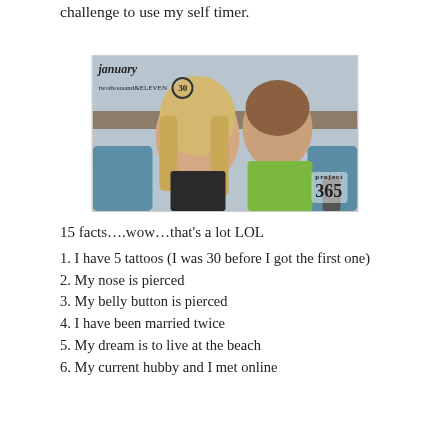challenge to use my self timer.
[Figure (photo): A woman with long blonde hair and a young boy in a green shirt, posing together indoors. Overlaid text reads 'january twothousand&ELEVEN 30' with a circle around 30, and '365' in the bottom right corner.]
15 facts….wow…that's a lot LOL
1. I have 5 tattoos (I was 30 before I got the first one)
2. My nose is pierced
3. My belly button is pierced
4. I have been married twice
5. My dream is to live at the beach
6. My current hubby and I met online